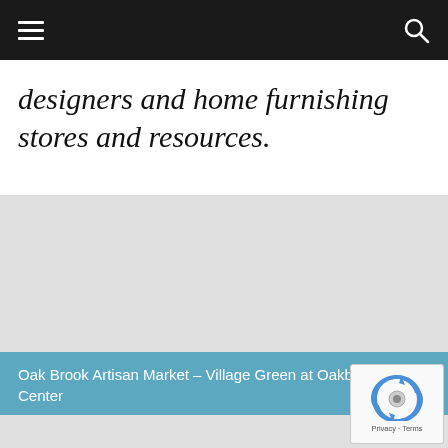designers and home furnishing stores and resources.
[Figure (map): Gray placeholder map area showing a location map]
Oak Brook Artisan Market – Village Green at Oakbrook Center